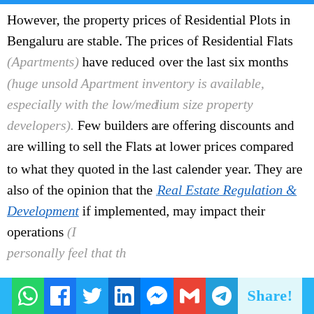However, the property prices of Residential Plots in Bengaluru are stable. The prices of Residential Flats (Apartments) have reduced over the last six months (huge unsold Apartment inventory is available, especially with the low/medium size property developers). Few builders are offering discounts and are willing to sell the Flats at lower prices compared to what they quoted in the last calender year. They are also of the opinion that the Real Estate Regulation & Development if implemented, may impact their operations (I personally feel that th…